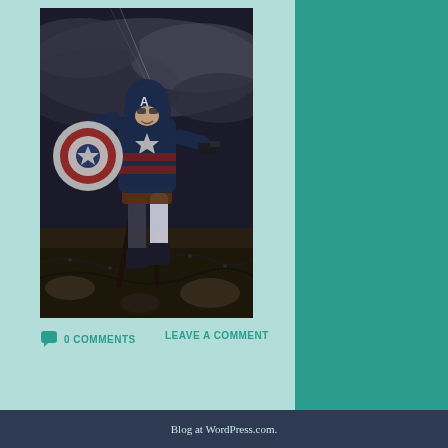[Figure (photo): Captain America character in action pose, wearing blue costume with star on chest, holding shield and gun, set against stormy sky background with barbed wire and debris]
0 COMMENTS
LEAVE A COMMENT
Blog at WordPress.com.